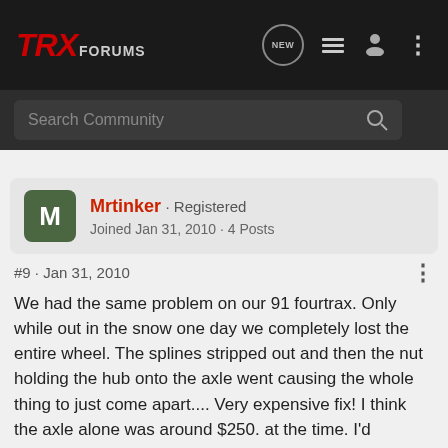TRX FORUMS
Search Community
Mrtinker · Registered
Joined Jan 31, 2010 · 4 Posts
#9 · Jan 31, 2010
We had the same problem on our 91 fourtrax. Only while out in the snow one day we completely lost the entire wheel. The splines stripped out and then the nut holding the hub onto the axle went causing the whole thing to just come apart.... Very expensive fix! I think the axle alone was around $250. at the time. I'd recommed you get the large metric wrenches for removing...d!